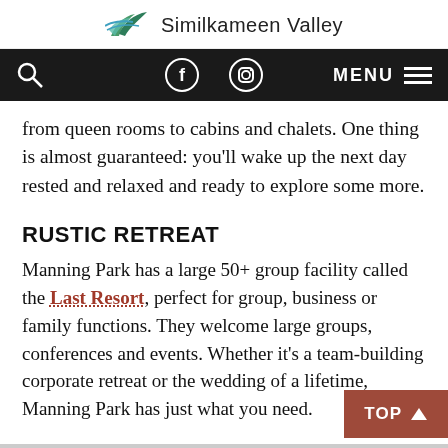Similkameen Valley
[Figure (logo): Similkameen Valley website navigation bar with search icon, Facebook icon, Instagram icon, and MENU hamburger button on dark background]
from queen rooms to cabins and chalets. One thing is almost guaranteed: you’ll wake up the next day rested and relaxed and ready to explore some more.
RUSTIC RETREAT
Manning Park has a large 50+ group facility called the Last Resort, perfect for group, business or family functions. They welcome large groups, conferences and events. Whether it’s a team-building corporate retreat or the wedding of a lifetime, Manning Park has just what you need.